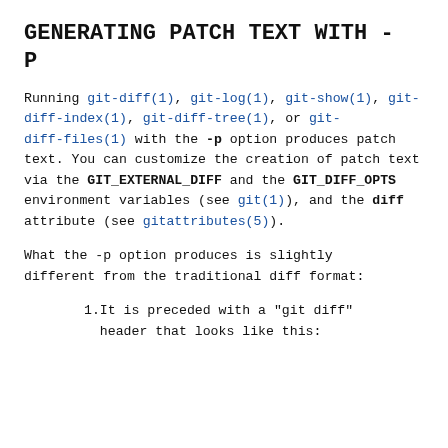GENERATING PATCH TEXT WITH -P
Running git-diff(1), git-log(1), git-show(1), git-diff-index(1), git-diff-tree(1), or git-diff-files(1) with the -p option produces patch text. You can customize the creation of patch text via the GIT_EXTERNAL_DIFF and the GIT_DIFF_OPTS environment variables (see git(1)), and the diff attribute (see gitattributes(5)).
What the -p option produces is slightly different from the traditional diff format:
1. It is preceded with a "git diff" header that looks like this: